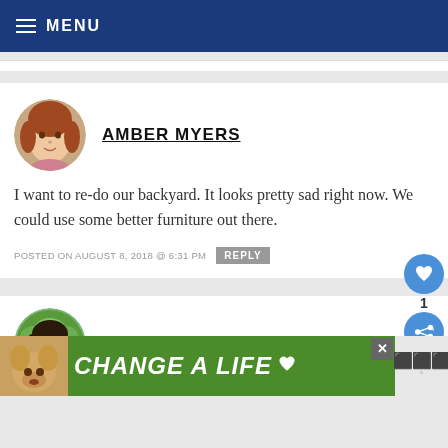MENU
AMBER MYERS
I want to re-do our backyard. It looks pretty sad right now. We could use some better furniture out there.
POSTED ON AUGUST 8, 2018 @ 6:31 PM  REPLY
HEATHER
[Figure (other): Advertisement banner: CHANGE A LIFE with dog photo]